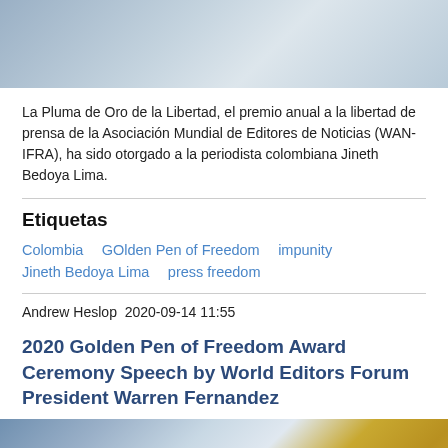[Figure (photo): Top portion of a photo, likely showing a person in light-colored clothing]
La Pluma de Oro de la Libertad, el premio anual a la libertad de prensa de la Asociación Mundial de Editores de Noticias (WAN-IFRA), ha sido otorgado a la periodista colombiana Jineth Bedoya Lima.
Etiquetas
Colombia
GOlden Pen of Freedom
impunity
Jineth Bedoya Lima
press freedom
Andrew Heslop  2020-09-14 11:55
2020 Golden Pen of Freedom Award Ceremony Speech by World Editors Forum President Warren Fernandez
[Figure (photo): Bottom photo showing a golden pen award trophy in front of a blurred building background]